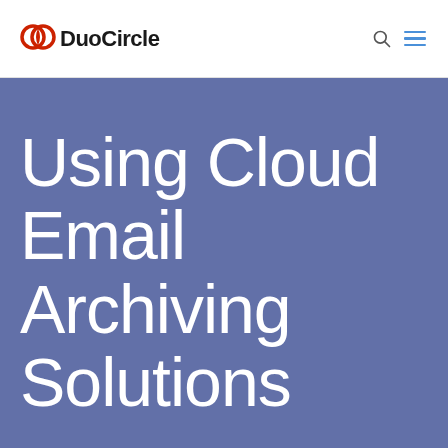DuoCircle
Using Cloud Email Archiving Solutions